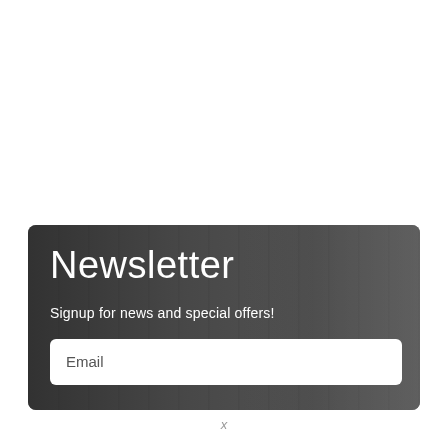[Figure (photo): Black and white photo of a gym with weightlifting equipment and a person in the background, used as background for a newsletter signup section]
Newsletter
Signup for news and special offers!
Email